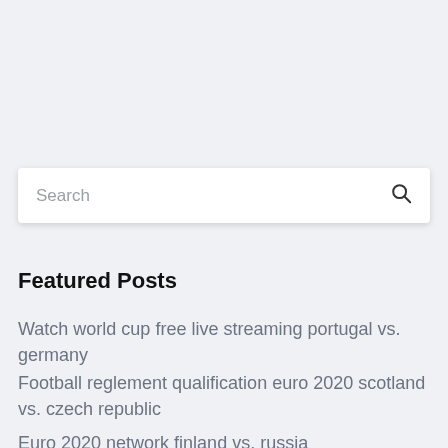[Figure (screenshot): Search input box with placeholder text 'Search' and a search icon on the right, on a light blue-grey background]
Featured Posts
Watch world cup free live streaming portugal vs. germany
Football reglement qualification euro 2020 scotland vs. czech republic
Euro 2020 network finland vs. russia